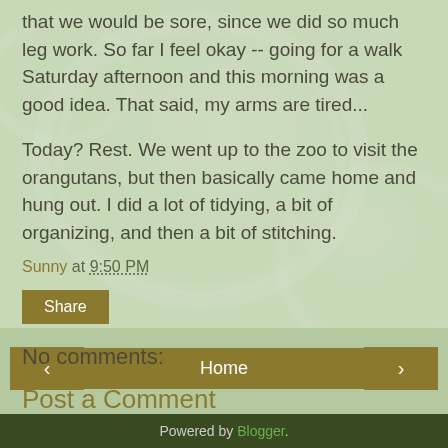that we would be sore, since we did so much leg work. So far I feel okay -- going for a walk Saturday afternoon and this morning was a good idea. That said, my arms are tired...
Today? Rest. We went up to the zoo to visit the orangutans, but then basically came home and hung out. I did a lot of tidying, a bit of organizing, and then a bit of stitching.
Sunny at 9:50 PM
Share
No comments:
Post a Comment
‹
Home
›
View web version
Powered by Blogger.